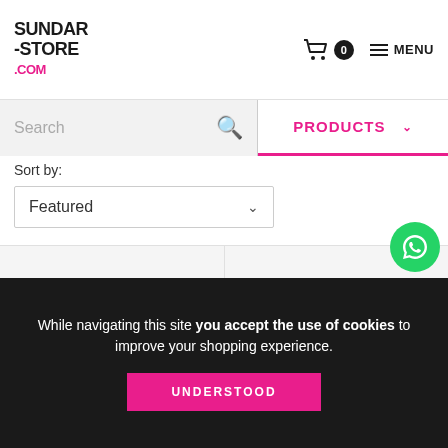SUNDAR-STORE.COM
Search
PRODUCTS
Sort by:
Featured
MARTINA - NUDE SUNDAR BAG
$72.65 USD
In up to 6 installments of $12.11 USD without interest
MARTINA - BLACK SUNDAR BAG
$72.65 USD
In up to 6 installments of $12.11 USD without interest
While navigating this site you accept the use of cookies to improve your shopping experience.
UNDERSTOOD